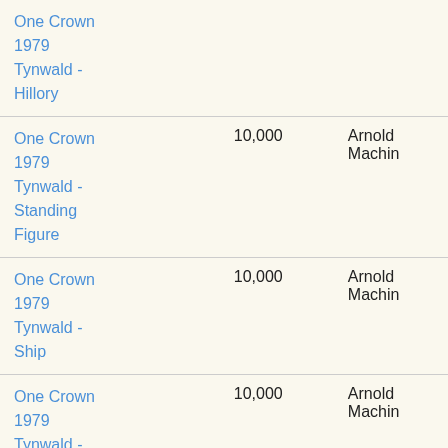| One Crown
1979
Tynwald - Hillory |  |  |
| One Crown
1979
Tynwald - Standing Figure | 10,000 | Arnold Machin |
| One Crown
1979
Tynwald - Ship | 10,000 | Arnold Machin |
| One Crown
1979
Tynwald - English Cog | 10,000 | Arnold Machin |
| One Crown
1979
Tynwald - Ailhi... | 10,000 | Arnold Machin |